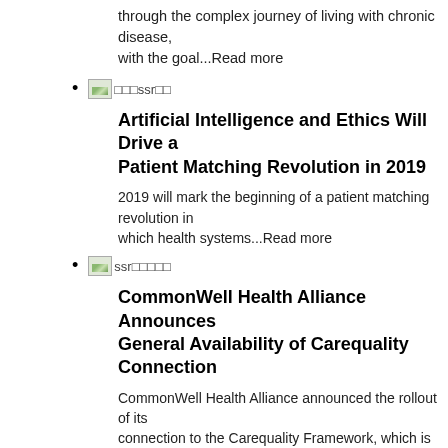through the complex journey of living with chronic disease, with the goal...Read more
ssr[image]
Artificial Intelligence and Ethics Will Drive a Patient Matching Revolution in 2019
2019 will mark the beginning of a patient matching revolution in which health systems...Read more
ssr[image]
CommonWell Health Alliance Announces General Availability of Carequality Connection
CommonWell Health Alliance announced the rollout of its connection to the Carequality Framework, which is now...Read more
ssr[image]
ssr[image label]